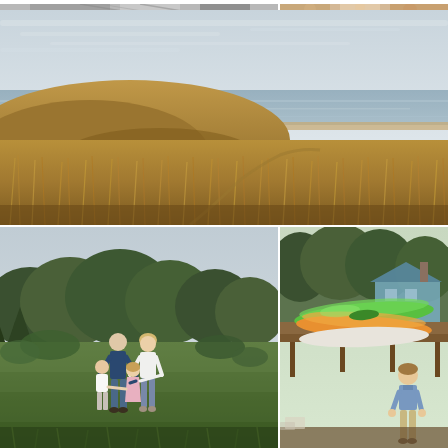[Figure (photo): Partial view of top-left photo showing blurred decorative/wedding elements in black and white]
[Figure (photo): Partial view of top-right photo showing blurred colorful floral or nature elements]
[Figure (photo): Large landscape photo of coastal sand dunes with golden beach grass and calm ocean in the background under a pale sky]
[Figure (photo): Family photo of parents and two young children walking through a green meadow with trees behind them]
[Figure (photo): Young boy standing near colorful kayaks on a deck with a house and trees in the background]